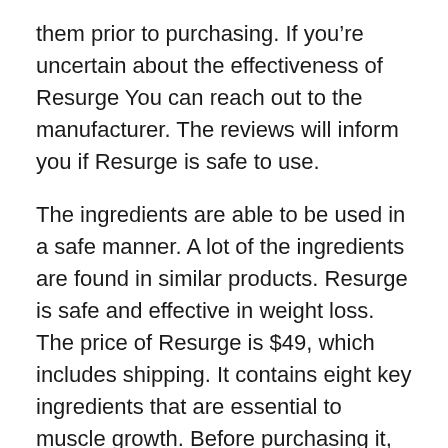them prior to purchasing. If you're uncertain about the effectiveness of Resurge You can reach out to the manufacturer. The reviews will inform you if Resurge is safe to use.
The ingredients are able to be used in a safe manner. A lot of the ingredients are found in similar products. Resurge is safe and effective in weight loss. The price of Resurge is $49, which includes shipping. It contains eight key ingredients that are essential to muscle growth. Before purchasing it, ensure that you consult a physician if have any concerns regarding the composition of the ingredients. If you're looking to use it for weight loss, the formula includes amino acids.